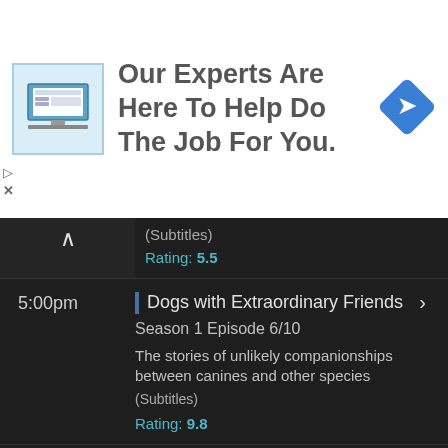[Figure (infographic): Advertisement banner: icon of a website/dashboard, text 'Our Experts Are Here To Help Do The Job For You.', blue diamond arrow icon on right]
(Subtitles)
Rating: 5.5
5:00pm | Dogs with Extraordinary Friends >
Season 1 Episode 6/10
The stories of unlikely companionships between canines and other species
(Subtitles)
Rating: 9.8
6:00pm | Home and Away >
12/09/2022
Australian soap opera charting the latest comings and goings of the residents of Summer Bay
(Subtitles) (Audio Described)
Rating: 3.5
6:30pm | Home and Away >